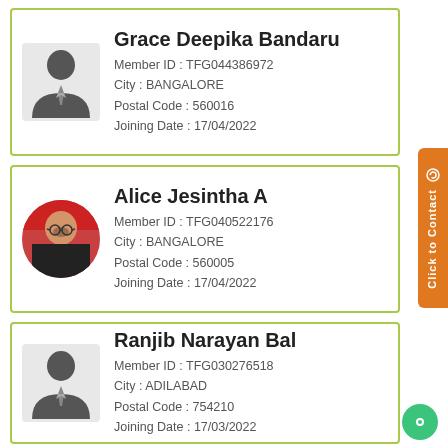[Figure (other): Member card for Grace Deepika Bandaru with silhouette avatar. Name: Grace Deepika Bandaru, Member ID: TFG044386972, City: BANGALORE, Postal Code: 560016, Joining Date: 17/04/2022]
[Figure (other): Member card for Alice Jesintha A with photo avatar. Name: Alice Jesintha A, Member ID: TFG040522176, City: BANGALORE, Postal Code: 560005, Joining Date: 17/04/2022]
[Figure (other): Member card for Ranjib Narayan Bal with silhouette avatar. Name: Ranjib Narayan Bal, Member ID: TFG030276518, City: ADILABAD, Postal Code: 754210, Joining Date: 17/03/2022]